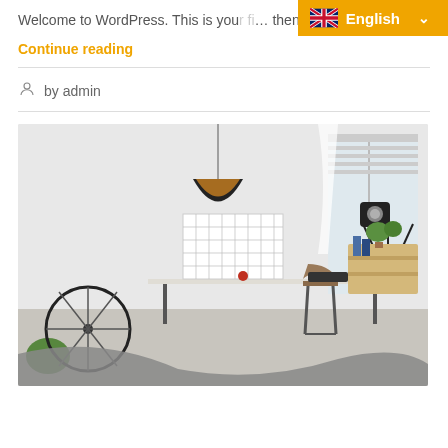Welcome to WordPress. This is you… then start...
Continue reading
by admin
[Figure (photo): A bright modern studio or home office space featuring a pendant lamp, a spotlight on a tripod, a white desk with a chair, a grid pinboard, plants, a wooden pallet shelf with books, a bicycle wheel on the left, and draped fabric in the foreground.]